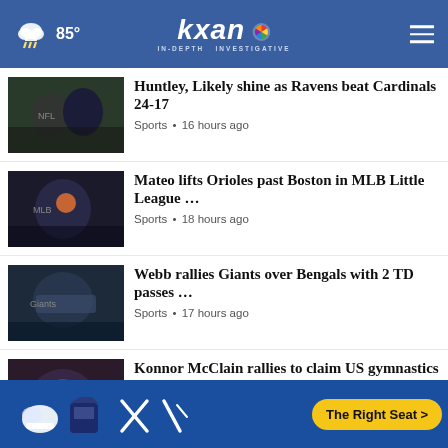85° kxan IN-DEPTH INVESTIGATIVE
Huntley, Likely shine as Ravens beat Cardinals 24-17 — Sports • 16 hours ago
Mateo lifts Orioles past Boston in MLB Little League … — Sports • 18 hours ago
Webb rallies Giants over Bengals with 2 TD passes … — Sports • 17 hours ago
Konnor McClain rallies to claim US gymnastics national … — Sports • 18 hours ago
Giants' top pick Thibodeaux, Gano hurt in preseason … — Sports • 19 hours ago
[Figure (infographic): Advertisement banner: The Right Seat > with NHTSA logo and sport icons on blue background]